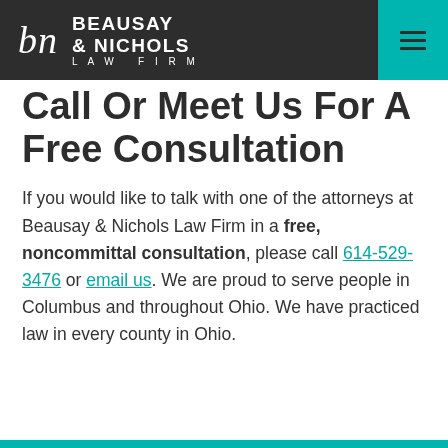Beausay & Nichols Law Firm
Call Or Meet Us For A Free Consultation
If you would like to talk with one of the attorneys at Beausay & Nichols Law Firm in a free, noncommittal consultation, please call 614-529-3476 or email us. We are proud to serve people in Columbus and throughout Ohio. We have practiced law in every county in Ohio.